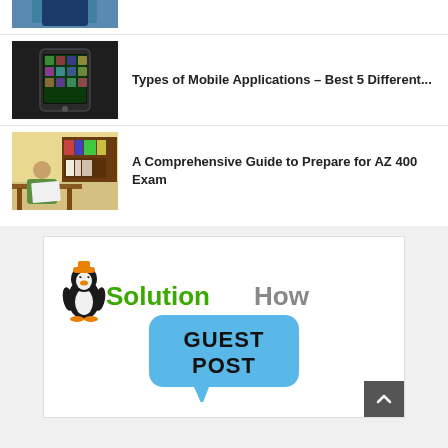[Figure (photo): Partial thumbnail of a person in graduation gown (top of page, cropped)]
[Figure (photo): Smartphone lying on dark surface]
Types of Mobile Applications – Best 5 Different...
[Figure (photo): Student studying at desk with books and computer]
A Comprehensive Guide to Prepare for AZ 400 Exam
[Figure (logo): SolutionHow Guest Post logo with green penguin mascot, green/gray SolutionHow text, blue speech bubble with GUEST POST text, and person silhouette below]